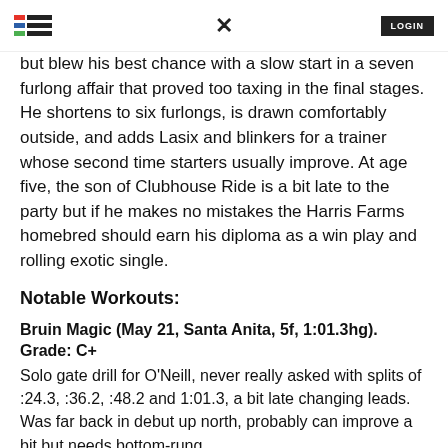LOGIN
but blew his best chance with a slow start in a seven furlong affair that proved too taxing in the final stages. He shortens to six furlongs, is drawn comfortably outside, and adds Lasix and blinkers for a trainer whose second time starters usually improve. At age five, the son of Clubhouse Ride is a bit late to the party but if he makes no mistakes the Harris Farms homebred should earn his diploma as a win play and rolling exotic single.
Notable Workouts:
Bruin Magic (May 21, Santa Anita, 5f, 1:01.3hg). Grade: C+
Solo gate drill for O'Neill, never really asked with splits of :24.3, :36.2, :48.2 and 1:01.3, a bit late changing leads. Was far back in debut up north, probably can improve a bit but needs bottom-rung